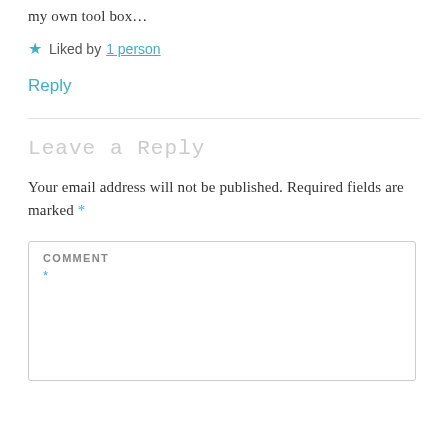my own tool box…
★ Liked by 1 person
Reply
Leave a Reply
Your email address will not be published. Required fields are marked *
COMMENT
*